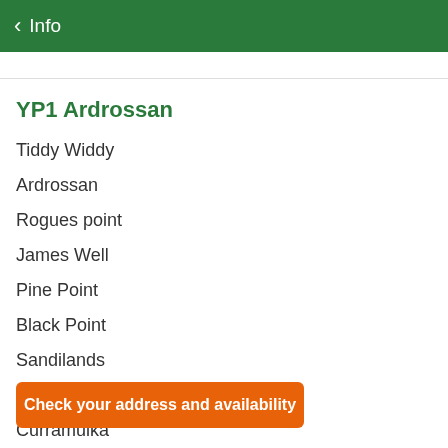< Info
YP1 Ardrossan
Tiddy Widdy
Ardrossan
Rogues point
James Well
Pine Point
Black Point
Sandilands
Port Vincent
Curramulka
Check your address and availability